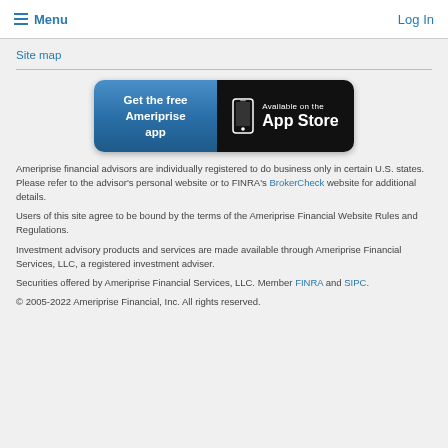Menu   Log In
Site map
[Figure (other): App Store button: 'Get the free Ameriprise app' on the left (blue gradient), and 'Available on the App Store' on the right (black background) with phone icon]
Ameriprise financial advisors are individually registered to do business only in certain U.S. states. Please refer to the advisor's personal website or to FINRA's BrokerCheck website for additional details.
Users of this site agree to be bound by the terms of the Ameriprise Financial Website Rules and Regulations.
Investment advisory products and services are made available through Ameriprise Financial Services, LLC, a registered investment adviser.
Securities offered by Ameriprise Financial Services, LLC. Member FINRA and SIPC.
© 2005-2022 Ameriprise Financial, Inc. All rights reserved.